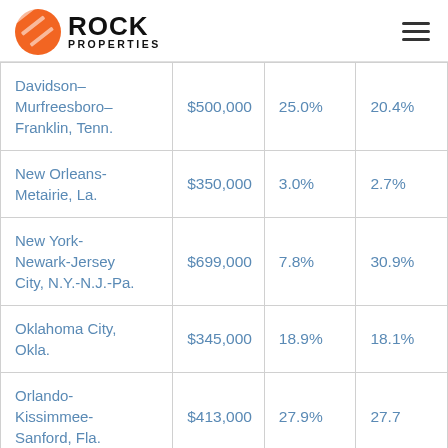Rock Properties
| Metro Area | Price | YoY% | 5yr% |
| --- | --- | --- | --- |
| Davidson–Murfreesboro–Franklin, Tenn. | $500,000 | 25.0% | 20.4% |
| New Orleans-Metairie, La. | $350,000 | 3.0% | 2.7% |
| New York-Newark-Jersey City, N.Y.-N.J.-Pa. | $699,000 | 7.8% | 30.9% |
| Oklahoma City, Okla. | $345,000 | 18.9% | 18.1% |
| Orlando-Kissimmee-Sanford, Fla. | $413,000 | 27.9% | 27.7 |